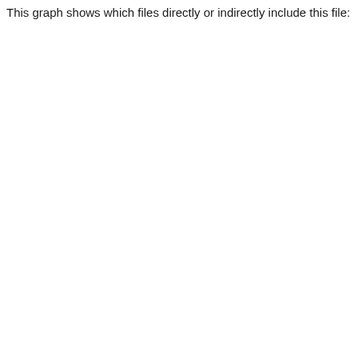This graph shows which files directly or indirectly include this file: